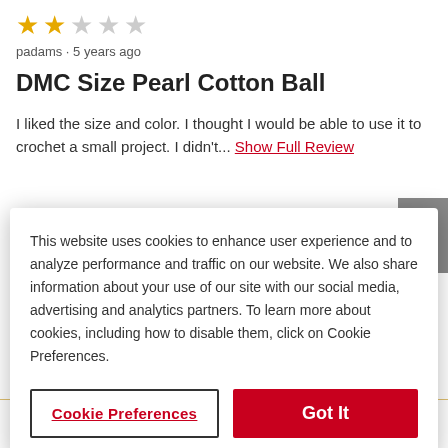[Figure (other): 2 out of 5 stars rating shown as star icons (2 filled gold, 3 empty gray)]
padams · 5 years ago
DMC Size Pearl Cotton Ball
I liked the size and color. I thought I would be able to use it to crochet a small project. I didn't... Show Full Review
This website uses cookies to enhance user experience and to analyze performance and traffic on our website. We also share information about your use of our site with our social media, advertising and analytics partners. To learn more about cookies, including how to disable them, click on Cookie Preferences.
Cookie Preferences
Got It